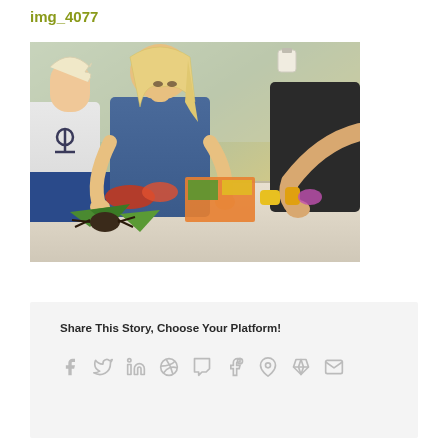img_4077
[Figure (photo): Children playing with colorful toys and craft supplies on a table. A blonde child in a blue shirt with an anchor design reaches toward colorful items, with another child in a white shirt visible on the left and another child reaching in from the right.]
Share This Story, Choose Your Platform!
[Figure (infographic): Social sharing icons row: Facebook, Twitter, LinkedIn, Reddit, Tumblr, Google+, Pinterest, VK, Email]